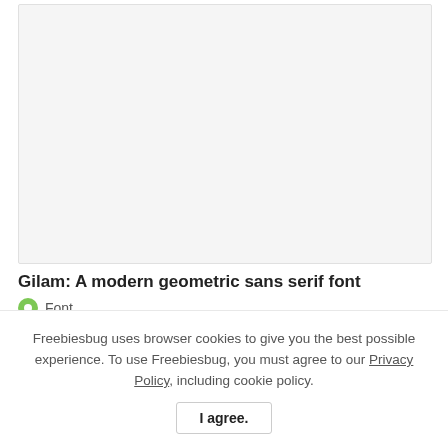[Figure (illustration): Light gray rectangular placeholder image area with border]
Gilam: A modern geometric sans serif font
Font
Freebiesbug uses browser cookies to give you the best possible experience. To use Freebiesbug, you must agree to our Privacy Policy, including cookie policy.
I agree.